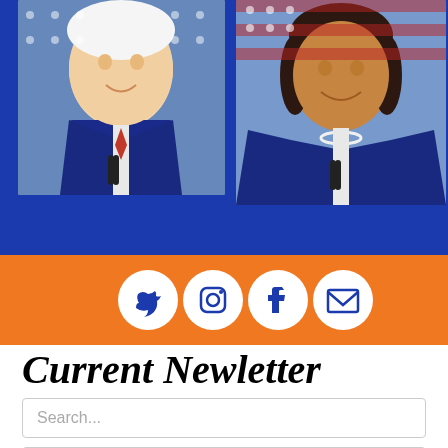[Figure (photo): Two side-by-side photos of political figures (man on left, woman on right) against a blue background with American flags]
[Figure (infographic): Orange social media bar with four white circular icons: Twitter, Instagram, Facebook, and Email]
Current Newletter
Search...
Sort by